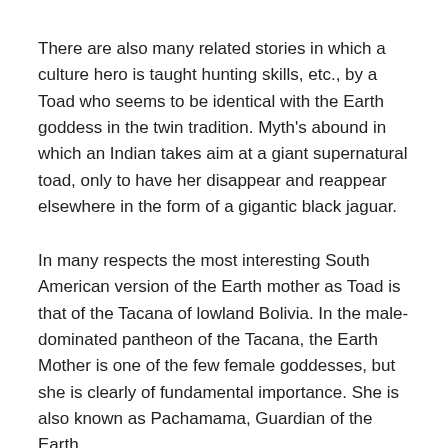There are also many related stories in which a culture hero is taught hunting skills, etc., by a Toad who seems to be identical with the Earth goddess in the twin tradition. Myth's abound in which an Indian takes aim at a giant supernatural toad, only to have her disappear and reappear elsewhere in the form of a gigantic black jaguar.
In many respects the most interesting South American version of the Earth mother as Toad is that of the Tacana of lowland Bolivia. In the male-dominated pantheon of the Tacana, the Earth Mother is one of the few female goddesses, but she is clearly of fundamental importance. She is also known as Pachamama, Guardian of the Earth.